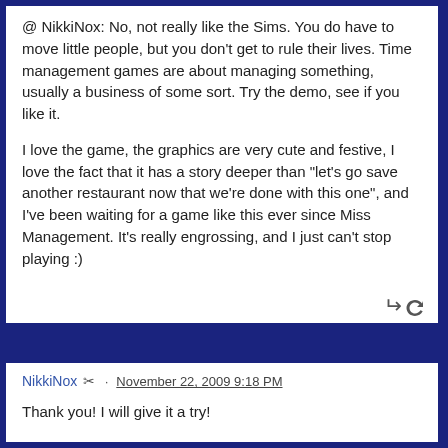@ NikkiNox: No, not really like the Sims. You do have to move little people, but you don't get to rule their lives. Time management games are about managing something, usually a business of some sort. Try the demo, see if you like it.
I love the game, the graphics are very cute and festive, I love the fact that it has a story deeper than "let's go save another restaurant now that we're done with this one", and I've been waiting for a game like this ever since Miss Management. It's really engrossing, and I just can't stop playing :)
NikkiNox · November 22, 2009 9:18 PM
Thank you! I will give it a try!